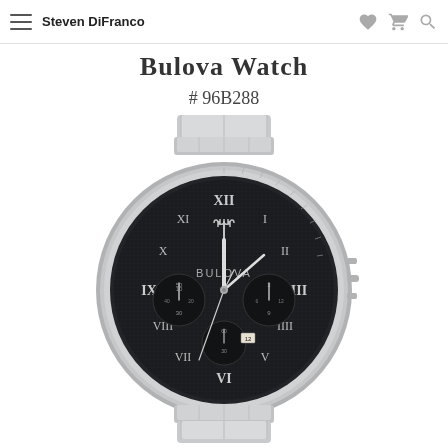Steven DiFranco
Bulova Watch
# 96B288
[Figure (photo): Bulova chronograph watch model 96B288 with silver stainless steel bracelet, black dial with Roman numerals, three sub-dials, a trident logo at 12 o'clock, and BULOVA branding. Tachymeter bezel with silver case.]